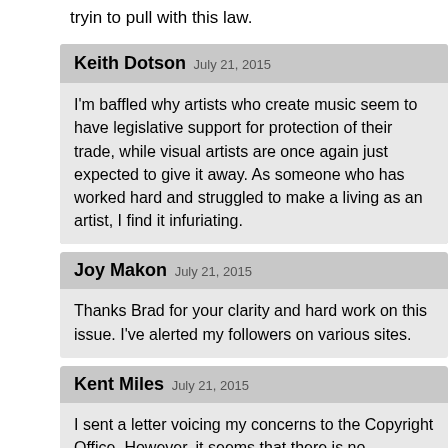tryin to pull with this law.
Keith Dotson July 21, 2015
I'm baffled why artists who create music seem to have legislative support for protection of their trade, while visual artists are once again just expected to give it away. As someone who has worked hard and struggled to make a living as an artist, I find it infuriating.
Joy Makon July 21, 2015
Thanks Brad for your clarity and hard work on this issue. I've alerted my followers on various sites.
Kent Miles July 21, 2015
I sent a letter voicing my concerns to the Copyright Office. However, it seems that there is no...